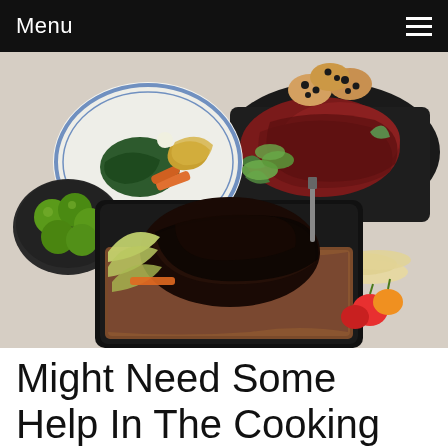Menu
[Figure (photo): Overhead view of a spread of food dishes including a plate with greens and vegetables, grilled/smoked meat on a dark platter, a bowl of green limes, crackers, a bowl of rice with braised meat, and colorful cherry peppers on a light surface.]
Might Need Some Help In The Cooking food Department? Keep